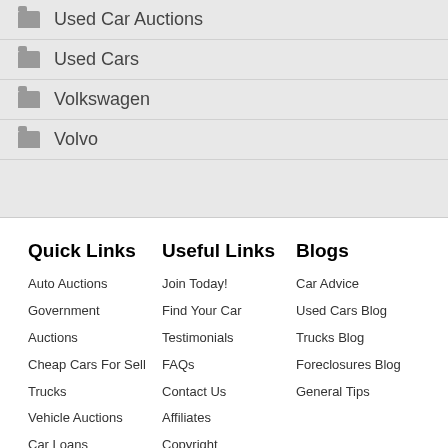Used Car Auctions
Used Cars
Volkswagen
Volvo
Quick Links
Auto Auctions
Government
Auctions
Cheap Cars For Sell
Trucks
Vehicle Auctions
Car Loans
Useful Links
Join Today!
Find Your Car
Testimonials
FAQs
Contact Us
Affiliates
Copyright Information
Blogs
Car Advice
Used Cars Blog
Trucks Blog
Foreclosures Blog
General Tips